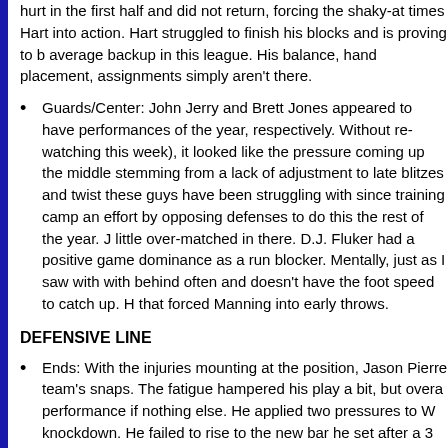hurt in the first half and did not return, forcing the shaky-at times Hart into action. Hart struggled to finish his blocks and is proving to be a below average backup in this league. His balance, hand placement, and assignments simply aren't there.
Guards/Center: John Jerry and Brett Jones appeared to have performances of the year, respectively. Without re-watching (this week), it looked like the pressure coming up the middle stemming from a lack of adjustment to late blitzes and twists — these guys have been struggling with since training camp and effort by opposing defenses to do this the rest of the year. J little over-matched in there. D.J. Fluker had a positive game dominance as a run blocker. Mentally, just as I saw with with behind often and doesn't have the foot speed to catch up. H that forced Manning into early throws.
DEFENSIVE LINE
Ends: With the injuries mounting at the position, Jason Pierre team's snaps. The fatigue hampered his play a bit, but overa performance if nothing else. He applied two pressures to W knockdown. He failed to rise to the new bar he set after a 3